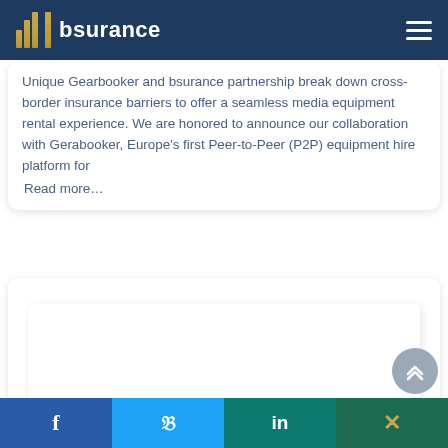bsurance
Unique Gearbooker and bsurance partnership break down cross-border insurance barriers to offer a seamless media equipment rental experience. We are honored to announce our collaboration with Gerabooker, Europe’s first Peer-to-Peer (P2P) equipment hire platform for Read more…
[Figure (other): Blank white card area, partially visible second article card]
f  Twitter  in  Xing